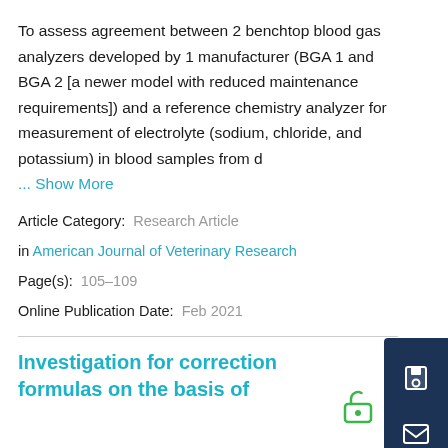To assess agreement between 2 benchtop blood gas analyzers developed by 1 manufacturer (BGA 1 and BGA 2 [a newer model with reduced maintenance requirements]) and a reference chemistry analyzer for measurement of electrolyte (sodium, chloride, and potassium) in blood samples from d
... Show More
Article Category:  Research Article
in American Journal of Veterinary Research
Page(s):  105–109
Online Publication Date:  Feb 2021
Investigation for correction formulas on the basis of